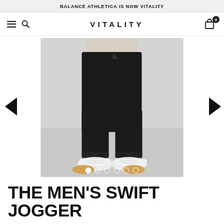BALANCE ATHLETICA IS NOW VITALITY
[Figure (logo): VITALITY brand logo with hamburger menu, search icon, and cart icon with 0 badge]
[Figure (photo): Man wearing black jogger pants and white sneakers against a light gray background, shown from waist down. Navigation arrows on left and right. Carousel dots at bottom showing 6 slides, first dot active.]
THE MEN'S SWIFT JOGGER